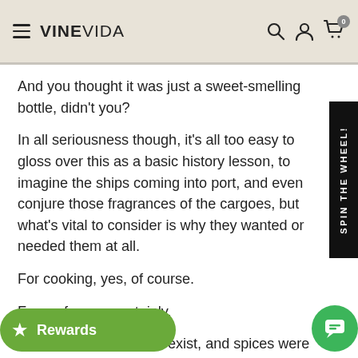VINEVIDA
And you thought it was just a sweet-smelling bottle, didn't you?
In all seriousness though, it's all too easy to gloss over this as a basic history lesson, to imagine the ships coming into port, and even conjure those fragrances of the cargoes, but what's vital to consider is why they wanted or needed them at all.
For cooking, yes, of course.
For perfumery, certainly.
...n antibiotics did not yet exist, and spices were an extremely important medicine. Black pepper has a fire to it that pushes